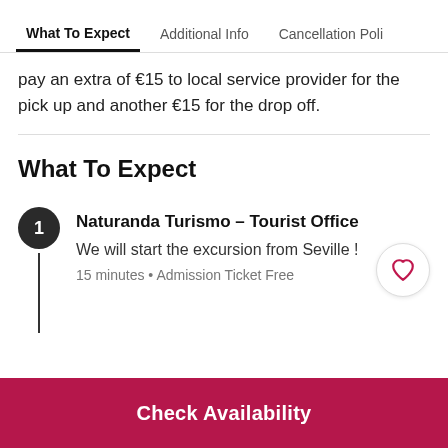What To Expect | Additional Info | Cancellation Poli
pay an extra of €15 to local service provider for the pick up and another €15 for the drop off.
What To Expect
1 Naturanda Turismo - Tourist Office
We will start the excursion from Seville !
15 minutes • Admission Ticket Free
Check Availability